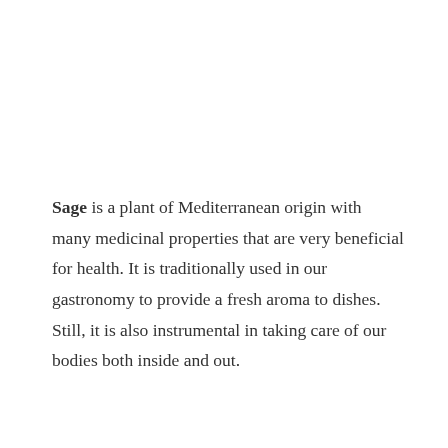Sage is a plant of Mediterranean origin with many medicinal properties that are very beneficial for health. It is traditionally used in our gastronomy to provide a fresh aroma to dishes. Still, it is also instrumental in taking care of our bodies both inside and out.